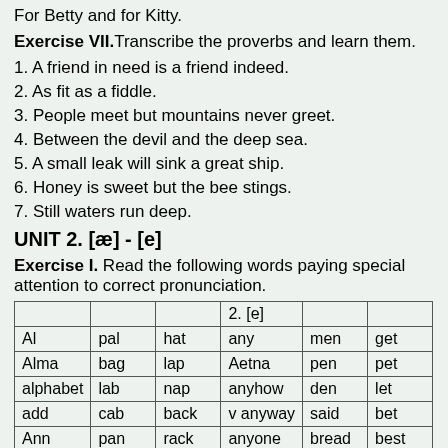For Betty and for Kitty.
Exercise VII. Transcribe the proverbs and learn them.
1. A friend in need is a friend indeed.
2. As fit as a fiddle.
3. People meet but mountains never greet.
4. Between the devil and the deep sea.
5. A small leak will sink a great ship.
6. Honey is sweet but the bee stings.
7. Still waters run deep.
UNIT 2. [æ] - [e]
Exercise I. Read the following words paying special attention to correct pronunciation.
|  |  |  | 2. [e] |  |  |
| --- | --- | --- | --- | --- | --- |
| Al | pal | hat | any | men | get |
| Alma | bag | lap | Aetna | pen | pet |
| alphabet | lab | nap | anyhow | den | let |
| add | cab | back | v anyway | said | bet |
| Ann | pan | rack | anyone | bread | best |